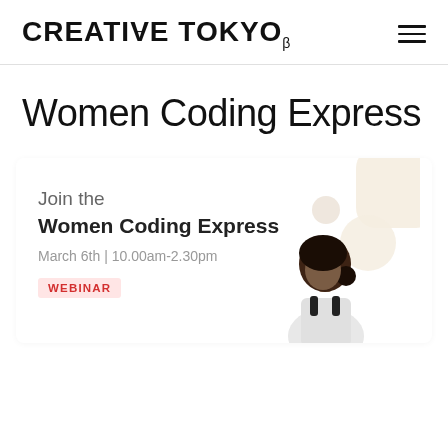CREATIVE TOKYO β
Women Coding Express
[Figure (illustration): Event card for Women Coding Express webinar with decorative beige circles and an illustration of a woman. Text reads: Join the Women Coding Express, March 6th | 10.00am-2.30pm, WEBINAR badge in red.]